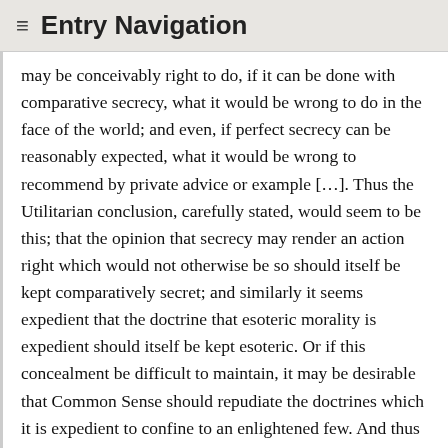≡ Entry Navigation
may be conceivably right to do, if it can be done with comparative secrecy, what it would be wrong to do in the face of the world; and even, if perfect secrecy can be reasonably expected, what it would be wrong to recommend by private advice or example […]. Thus the Utilitarian conclusion, carefully stated, would seem to be this; that the opinion that secrecy may render an action right which would not otherwise be so should itself be kept comparatively secret; and similarly it seems expedient that the doctrine that esoteric morality is expedient should itself be kept esoteric. Or if this concealment be difficult to maintain, it may be desirable that Common Sense should repudiate the doctrines which it is expedient to confine to an enlightened few. And thus a Utilitarian may reasonably desire, on Utilitarian principles, that some of his conclusions should be rejected by mankind generally; or even that the vulgar should keep aloof from his system as a whole, in so far as the inevitable indefiniteness and